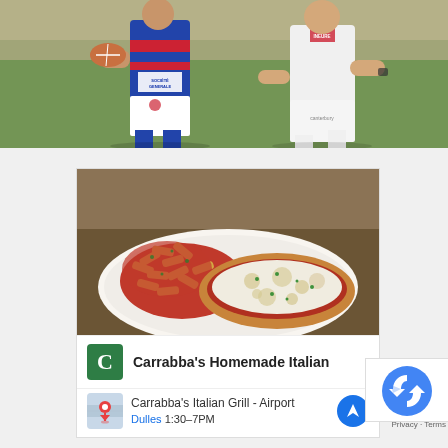[Figure (photo): Two rugby players running on a field. Left player wearing blue/red/white Societe Generale jersey holding a ball. Right player wearing white Canterbury jersey.]
[Figure (photo): Advertisement banner for Carrabba's Homemade Italian showing a plate of penne pasta with marinara sauce and chicken parmesan with melted cheese, garnished with herbs on a white plate.]
Carrabba's Homemade Italian
Carrabba's Italian Grill - Airport
Dulles 1:30–7PM